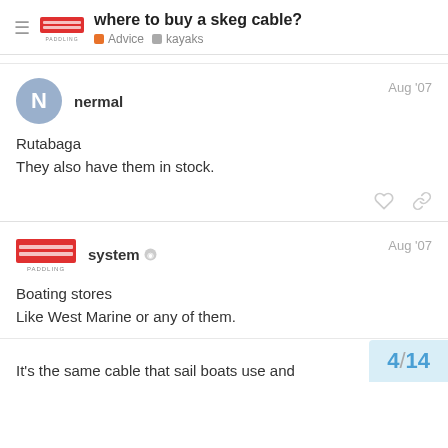where to buy a skeg cable? — Advice · kayaks
nermal
Aug '07
Rutabaga
They also have them in stock.
system
Aug '07
Boating stores
Like West Marine or any of them.
It's the same cable that sail boats use and
4/14